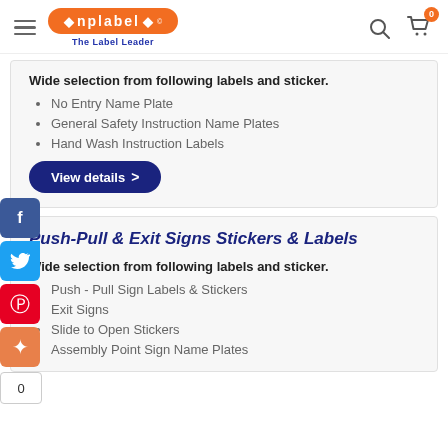NPLABEL - The Label Leader
Wide selection from following labels and sticker.
No Entry Name Plate
General Safety Instruction Name Plates
Hand Wash Instruction Labels
View details >
Push-Pull & Exit Signs Stickers & Labels
Wide selection from following labels and sticker.
Push - Pull Sign Labels & Stickers
Exit Signs
Slide to Open Stickers
Assembly Point Sign Name Plates